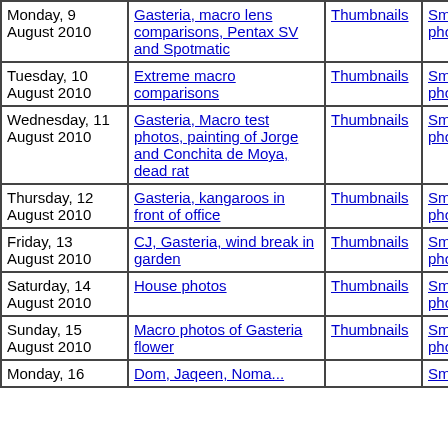| Date | Topic |  | Small photos |  |
| --- | --- | --- | --- | --- |
| Monday, 9 August 2010 | Gasteria, macro lens comparisons, Pentax SV and Spotmatic | Thumbnails | Small photos | diary |
| Tuesday, 10 August 2010 | Extreme macro comparisons | Thumbnails | Small photos | diary |
| Wednesday, 11 August 2010 | Gasteria, Macro test photos, painting of Jorge and Conchita de Moya, dead rat | Thumbnails | Small photos | diary |
| Thursday, 12 August 2010 | Gasteria, kangaroos in front of office | Thumbnails | Small photos | diary |
| Friday, 13 August 2010 | CJ, Gasteria, wind break in garden | Thumbnails | Small photos | diary |
| Saturday, 14 August 2010 | House photos | Thumbnails | Small photos | diary |
| Sunday, 15 August 2010 | Macro photos of Gasteria flower | Thumbnails | Small photos | diary |
| Monday, 16 | Dom, Jaqeen, Noma... |  | Small |  |